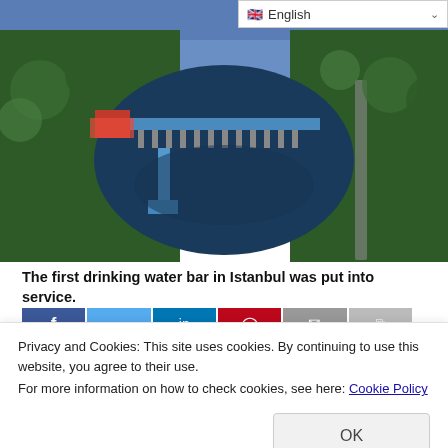[Figure (photo): Aerial photograph of a dam (Terkos Dam area) with a reservoir, forested banks, a small building with red roof, and a bridge structure across the water.]
The first drinking water bar in Istanbul was put into service.
[Figure (screenshot): Social media share buttons: Facebook (blue), Twitter (light blue), LinkedIn (blue), Pinterest (red), email (grey), print (light grey).]
Privacy and Cookies: This site uses cookies. By continuing to use this website, you agree to their use.
For more information on how to check cookies, see here: Cookie Policy
which started with the Terkos Dam, was followed by the Elmali